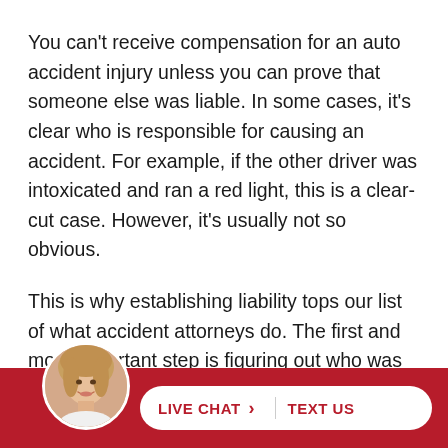You can't receive compensation for an auto accident injury unless you can prove that someone else was liable. In some cases, it's clear who is responsible for causing an accident. For example, if the other driver was intoxicated and ran a red light, this is a clear-cut case. However, it's usually not so obvious.
This is why establishing liability tops our list of what accident attorneys do. The first and most important step is figuring out who was to blame and how to prove it.
Your a[ttorney w…]
[Figure (photo): Circular avatar photo of a woman with blonde hair, partially visible above a red footer bar. Overlaid with a white pill-shaped button showing LIVE CHAT and TEXT US in red text.]